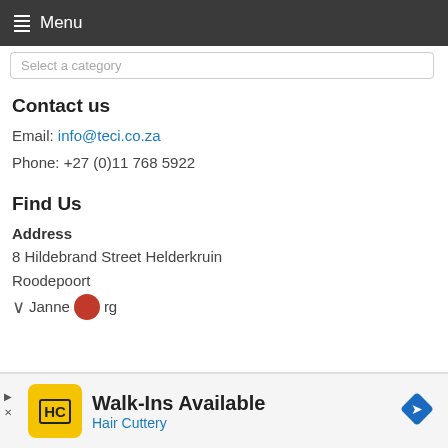Menu
Select a category
Contact us
Email: info@teci.co.za
Phone: +27 (0)11 768 5922
Find Us
Address
8 Hildebrand Street Helderkruin
Roodepoort
Johannesburg
[Figure (screenshot): Advertisement banner: Hair Cuttery Walk-Ins Available ad with HC logo and navigation icon]